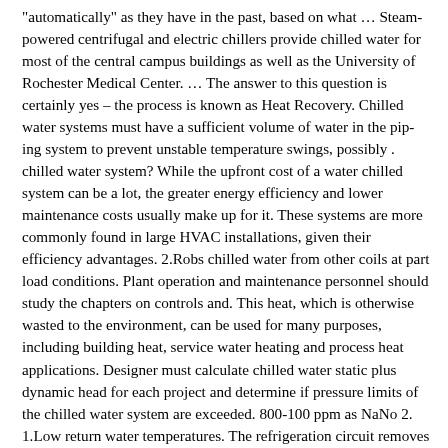"automatically" as they have in the past, based on what … Steam-powered centrifugal and electric chillers provide chilled water for most of the central campus buildings as well as the University of Rochester Medical Center. … The answer to this question is certainly yes – the process is known as Heat Recovery. Chilled water systems must have a sufficient volume of water in the piping system to prevent unstable temperature swings, possibly . chilled water system? While the upfront cost of a water chilled system can be a lot, the greater energy efficiency and lower maintenance costs usually make up for it. These systems are more commonly found in large HVAC installations, given their efficiency advantages. 2.Robs chilled water from other coils at part load conditions. Plant operation and maintenance personnel should study the chapters on controls and. This heat, which is otherwise wasted to the environment, can be used for many purposes, including building heat, service water heating and process heat applications. Designer must calculate chilled water static plus dynamic head for each project and determine if pressure limits of the chilled water system are exceeded. 800-100 ppm as NaNo 2. 1.Low return water temperatures. The refrigeration circuit removes heat from the process fluid. Chilled Water Systems Cut Energy Costs Through Smart Design. This manual will provide necessary information for th e proper installation , operation, and maint enance of your system. Chilled water - Wikipedia. This 400-ton system includes two water-cooled chillers piped in parallel. Dround Chiller Plant Design Guide PDF and designers of b...